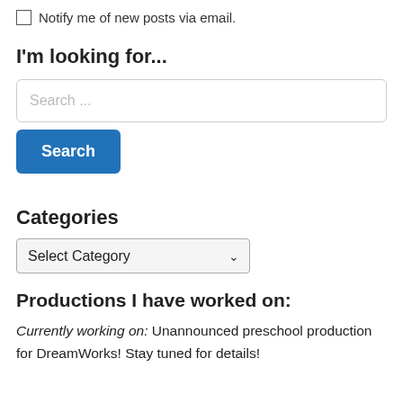Notify me of new posts via email.
I'm looking for...
Search ...
Search
Categories
Select Category
Productions I have worked on:
Currently working on: Unannounced preschool production for DreamWorks! Stay tuned for details!